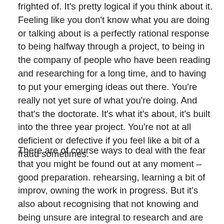frighted of. It's pretty logical if you think about it. Feeling like you don't know what you are doing or talking about is a perfectly rational response to being halfway through a project, to being in the company of people who have been reading and researching for a long time, and to having to put your emerging ideas out there. You're really not yet sure of what you're doing. And that's the doctorate. It's what it's about, it's built into the three year project. You're not at all deficient or defective if you feel like a bit of a fraud sometimes.
There are of course ways to deal with the fear that you might be found out at any moment – good preparation. rehearsing, learning a bit of improv, owning the work in progress. But it's also about recognising that not knowing and being unsure are integral to research and are as much a part of the process as actually knowing.